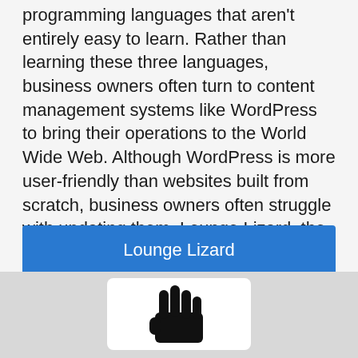programming languages that aren't entirely easy to learn. Rather than learning these three languages, business owners often turn to content management systems like WordPress to bring their operations to the World Wide Web. Although WordPress is more user-friendly than websites built from scratch, business owners often struggle with updating them. Lounge Lizard, the best WordPress web design firm, is a creator of custom WordPress websites that is capable of building them to clients' specific requests, including to be used in e-commerce capacities.
Lounge Lizard
Back to the Table
[Figure (logo): A stylized hand logo (black hand silhouette with spread fingers) displayed in a white rounded rectangle box on a gray background]